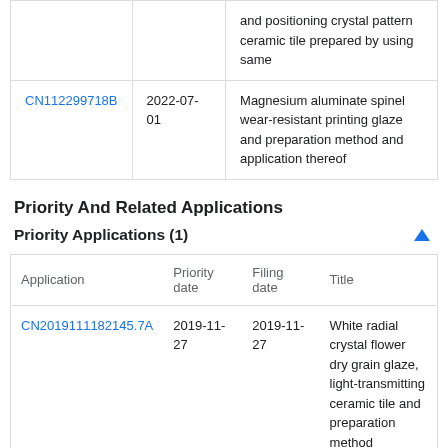| Application | Date | Title |
| --- | --- | --- |
|  |  | and positioning crystal pattern ceramic tile prepared by using same |
| CN112299718B | 2022-07-01 | Magnesium aluminate spinel wear-resistant printing glaze and preparation method and application thereof |
Priority And Related Applications
Priority Applications (1)
| Application | Priority date | Filing date | Title |
| --- | --- | --- | --- |
| CN2019111182145.7A | 2019-11-27 | 2019-11-27 | White radial crystal flower dry grain glaze, light-transmitting ceramic tile and preparation method |